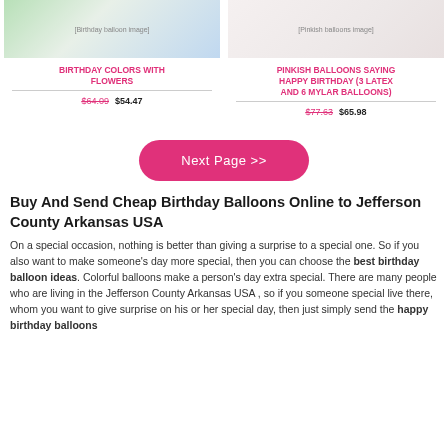[Figure (photo): Birthday balloon with colorful flowers product image]
BIRTHDAY COLORS WITH FLOWERS
$64.09  $54.47
[Figure (photo): Pinkish balloons product image]
PINKISH BALLOONS SAYING HAPPY BIRTHDAY (3 LATEX AND 6 MYLAR BALLOONS)
$77.63  $65.98
Next Page >>
Buy And Send Cheap Birthday Balloons Online to Jefferson County Arkansas USA
On a special occasion, nothing is better than giving a surprise to a special one. So if you also want to make someone's day more special, then you can choose the best birthday balloon ideas. Colorful balloons make a person's day extra special. There are many people who are living in the Jefferson County Arkansas USA , so if you someone special live there, whom you want to give surprise on his or her special day, then just simply send the happy birthday balloons